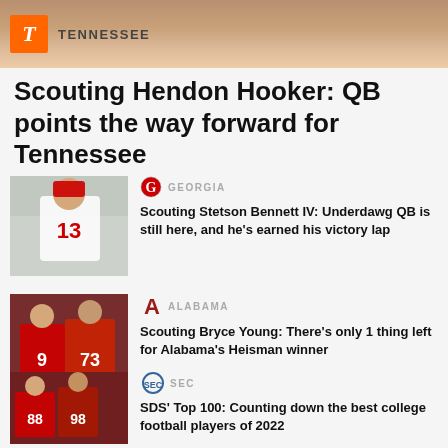TENNESSEE
Scouting Hendon Hooker: QB points the way forward for Tennessee
[Figure (photo): Football player #13 in Georgia Bulldogs white uniform]
GEORGIA
Scouting Stetson Bennett IV: Underdawg QB is still here, and he's earned his victory lap
[Figure (photo): Alabama football players #9 and #73 in red uniforms]
ALABAMA
Scouting Bryce Young: There's only 1 thing left for Alabama's Heisman winner
[Figure (photo): SEC football players #88 and #98 in red uniforms]
SEC
SDS' Top 100: Counting down the best college football players of 2022